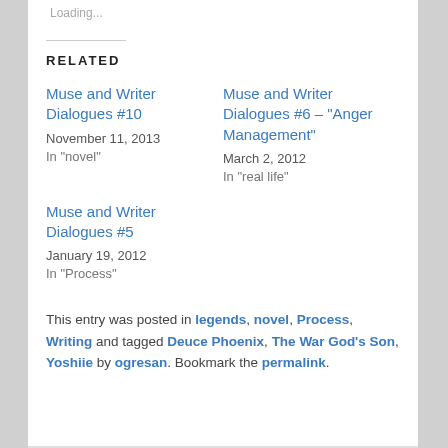Loading...
RELATED
Muse and Writer Dialogues #10
November 11, 2013
In "novel"
Muse and Writer Dialogues #6 – "Anger Management"
March 2, 2012
In "real life"
Muse and Writer Dialogues #5
January 19, 2012
In "Process"
This entry was posted in legends, novel, Process, Writing and tagged Deuce Phoenix, The War God's Son, Yoshiie by ogresan. Bookmark the permalink.